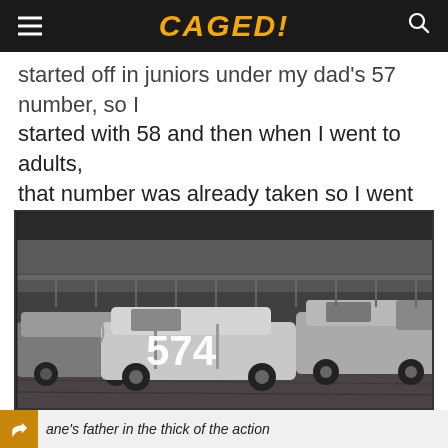CAGED!
started off in juniors under my dad's 57 number, so I started with 58 and then when I went to adults, that number was already taken so I went with 158 which has been retained since.
[Figure (photo): Black and white vintage photograph of stock car racing, showing car number 574 prominently in the center with other race cars around it on a dirt track, with stands visible in the background.]
ane's father in the thick of the action